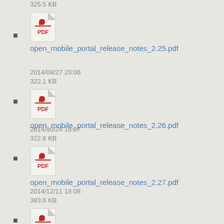325.5 KB
open_mobile_portal_release_notes_2.25.pdf
2014/08/27 20:06
322.1 KB
open_mobile_portal_release_notes_2.26.pdf
2014/10/24 16:07
322.6 KB
open_mobile_portal_release_notes_2.27.pdf
2014/12/11 18:08
383.6 KB
open_mobile_portal_release_notes_2.28.pdf